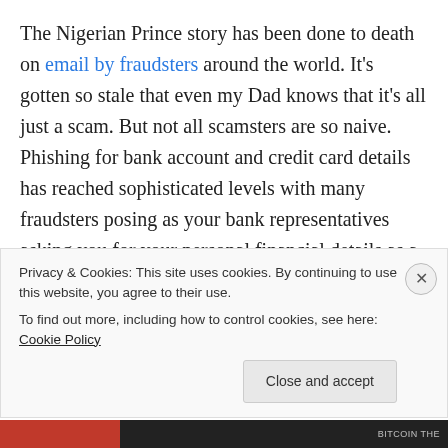The Nigerian Prince story has been done to death on email by fraudsters around the world. It's gotten so stale that even my Dad knows that it's all just a scam. But not all scamsters are so naive. Phishing for bank account and credit card details has reached sophisticated levels with many fraudsters posing as your bank representatives asking you for your personal financial details as a matter of routine maintenance. There have been cases of people receiving links inside perfectly innocent looking emails which if clicked can download a malicious keystroke logging malware into your machine
Privacy & Cookies: This site uses cookies. By continuing to use this website, you agree to their use. To find out more, including how to control cookies, see here: Cookie Policy
Close and accept